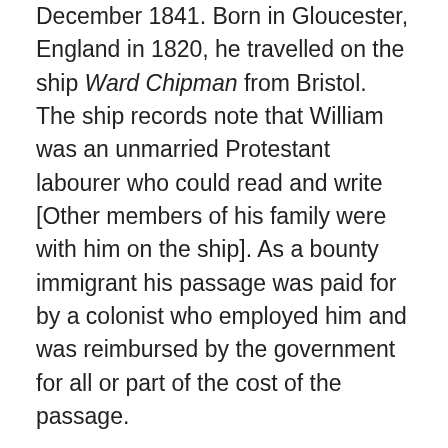December 1841. Born in Gloucester, England in 1820, he travelled on the ship Ward Chipman from Bristol. The ship records note that William was an unmarried Protestant labourer who could read and write [Other members of his family were with him on the ship]. As a bounty immigrant his passage was paid for by a colonist who employed him and was reimbursed by the government for all or part of the cost of the passage.
William Coleman took up residence in East Collingwood where he met and later married Mary Ann Chapman at St James' Church of England, Melbourne, on the twenty third day